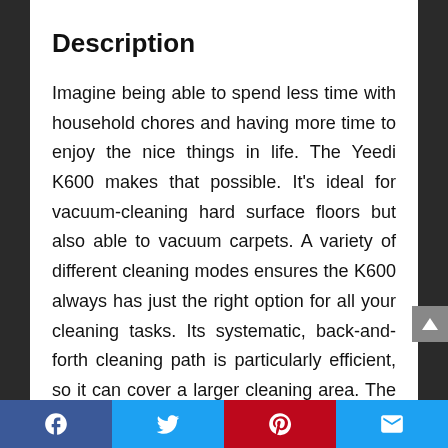Description
Imagine being able to spend less time with household chores and having more time to enjoy the nice things in life. The Yeedi K600 makes that possible. It’s ideal for vacuum-cleaning hard surface floors but also able to vacuum carpets. A variety of different cleaning modes ensures the K600 always has just the right option for all your cleaning tasks. Its systematic, back-and-forth cleaning path is particularly efficient, so it can cover a larger cleaning area. The K600 is your handy
Facebook Twitter Pinterest Email